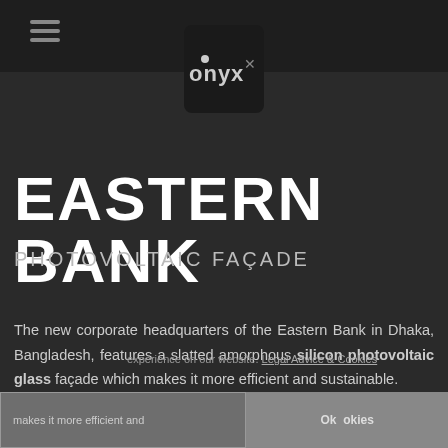[Figure (logo): Onyx Solar logo — dark rounded square with 'onyx' text and a small dot above the 'o']
EASTERN BANK
PHOTOVOLTAIC FAÇADE
The new corporate headquarters of the Eastern Bank in Dhaka, Bangladesh, features a slatted amorphous silicon photovoltaic glass façade which makes it more efficient and sustainable.